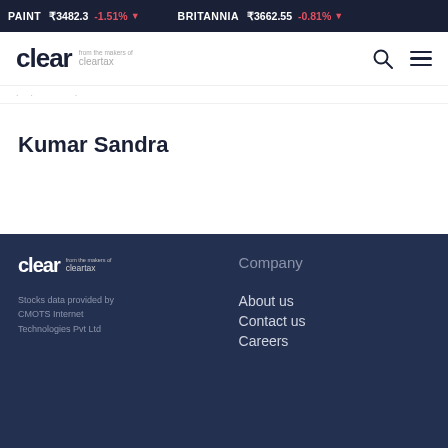PAINT ₹3482.3 -1.51% ▼   BRITANNIA ₹3662.55 -0.81% ▼
[Figure (logo): Clear from the makers of ClearTax logo, with search and menu icons]
Kumar Sandra
[Figure (logo): Clear from the makers of ClearTax logo in white on dark background (footer)]
Company
Stocks data provided by CMOTS Internet Technologies Pvt Ltd
About us
Contact us
Careers